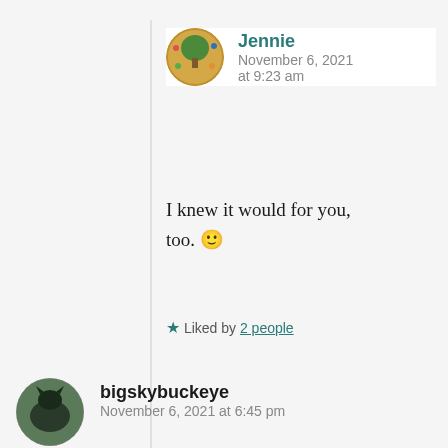Jennie
November 6, 2021 at 9:23 am
I knew it would for you, too. 🙂
★ Liked by 2 people
bigskybuckeye
November 6, 2021 at 6:45 pm
Little girls as well as big girls will cry. My three daughters proved that to me. But in fairness, most